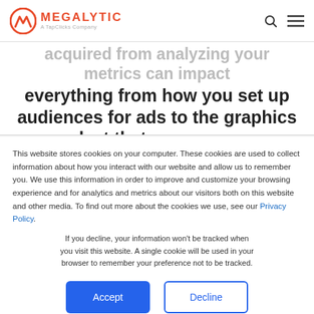MEGALYTIC — A TapClicks Company
acquired from analyzing your metrics can impact everything from how you set up audiences for ads to the graphics you select that accompany your posts. It's important to monitor this data regularly...
This website stores cookies on your computer. These cookies are used to collect information about how you interact with our website and allow us to remember you. We use this information in order to improve and customize your browsing experience and for analytics and metrics about our visitors both on this website and other media. To find out more about the cookies we use, see our Privacy Policy.
If you decline, your information won't be tracked when you visit this website. A single cookie will be used in your browser to remember your preference not to be tracked.